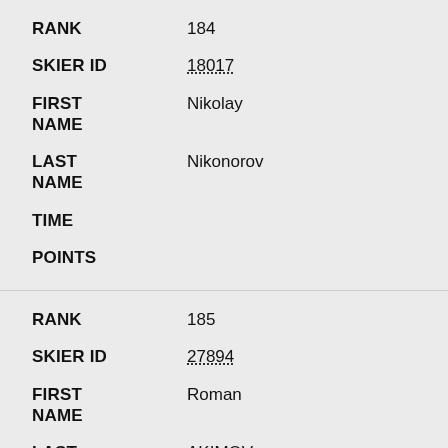| Field | Value |
| --- | --- |
| RANK | 184 |
| SKIER ID | 18017 |
| FIRST NAME | Nikolay |
| LAST NAME | Nikonorov |
| TIME |  |
| POINTS |  |
| RANK | 185 |
| SKIER ID | 27894 |
| FIRST NAME | Roman |
| LAST | AKIMOV |